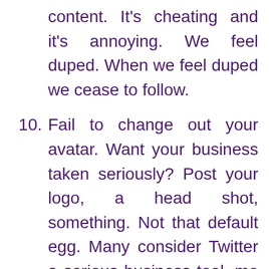content. It's cheating and it's annoying. We feel duped. When we feel duped we cease to follow.
10. Fail to change out your avatar. Want your business taken seriously? Post your logo, a head shot, something. Not that default egg. Many consider Twitter a serious business tool, me included. If you can't take the time to